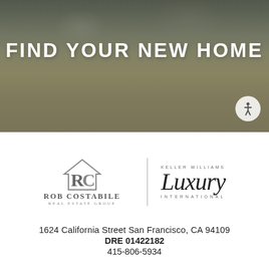[Figure (photo): Hero background image of a person sitting in a grassy field with rocky backdrop, with dark overlay]
FIND YOUR NEW HOME
[Figure (logo): Rob Costabile Real Estate Group logo alongside Keller Williams Luxury International logo, separated by a vertical divider line]
1624 California Street San Francisco, CA 94109
DRE 01422182
415-806-5934